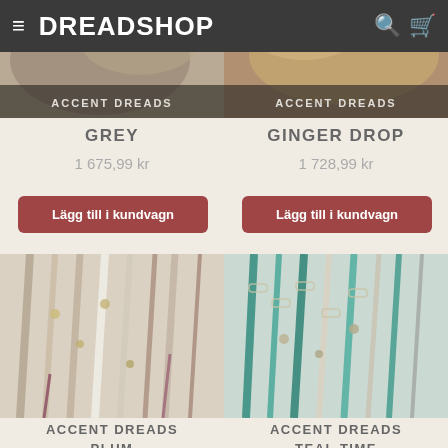DREADSHOP
[Figure (photo): Cropped photo of accent dreads grey product at top left]
[Figure (photo): Cropped photo of accent dreads ginger drop product at top right]
ACCENT DREADS
ACCENT DREADS
GREY
1 675,99 kr
Lägg till i kundvagn
GINGER DROP
1 728,99 kr
Lägg till i kundvagn
[Figure (photo): Photo of Accent Dreads Plum — dreadlocks with beads and burgundy/neutral tones on white background]
[Figure (photo): Photo of Accent Dreads Teal Time — dreadlocks with teal/green color and chain accessories on white background]
ACCENT DREADS PLUM
ACCENT DREADS TEAL TIME